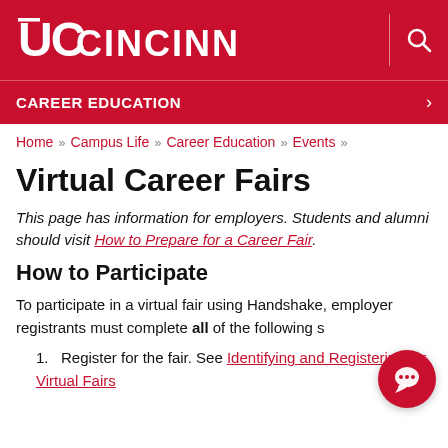[Figure (logo): University of Cincinnati logo with UC monogram and CINCINNATI text in white on red background, with a search icon on the right]
CAREER EDUCATION
Home » Campus Life » Career Education » Events »
Virtual Career Fairs
This page has information for employers. Students and alumni should visit How to Prepare for a Career Fair.
How to Participate
To participate in a virtual fair using Handshake, employer registrants must complete all of the following s...
Register for the fair. See Identifying and Registering for Virtual Fairs